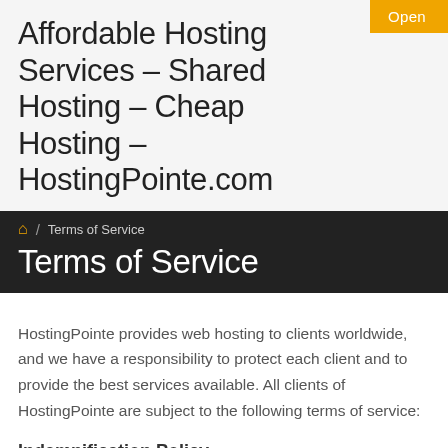Open
Affordable Hosting Services – Shared Hosting – Cheap Hosting – HostingPointe.com
🏠 / Terms of Service
Terms of Service
HostingPointe provides web hosting to clients worldwide, and we have a responsibility to protect each client and to provide the best services available. All clients of HostingPointe are subject to the following terms of service:
Indemnification Policy